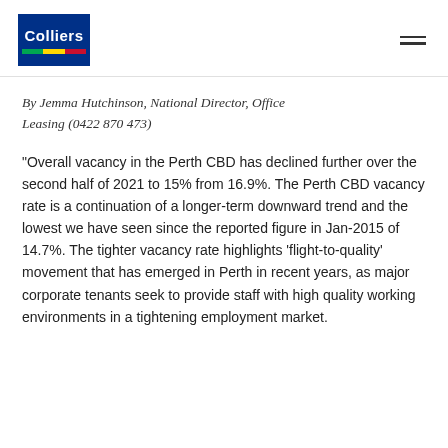Colliers
By Jemma Hutchinson, National Director, Office Leasing (0422 870 473)
“Overall vacancy in the Perth CBD has declined further over the second half of 2021 to 15% from 16.9%. The Perth CBD vacancy rate is a continuation of a longer-term downward trend and the lowest we have seen since the reported figure in Jan-2015 of 14.7%. The tighter vacancy rate highlights ‘flight-to-quality’ movement that has emerged in Perth in recent years, as major corporate tenants seek to provide staff with high quality working environments in a tightening employment market.